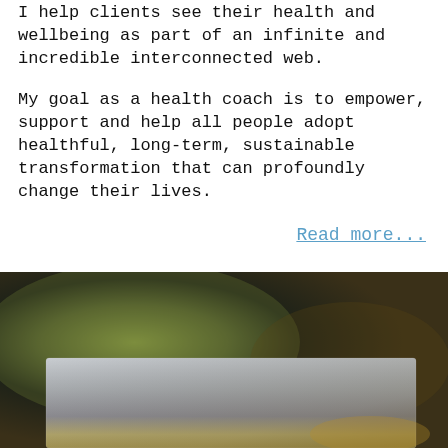I help clients see their health and wellbeing as part of an infinite and incredible interconnected web.
My goal as a health coach is to empower, support and help all people adopt healthful, long-term, sustainable transformation that can profoundly change their lives.
Read more...
[Figure (photo): A blurred close-up photo showing a dark, muted background with olive/khaki greens and dark navy/charcoal tones, with a lighter framed image visible at the bottom showing a misty or hazy outdoor scene with warm tones.]